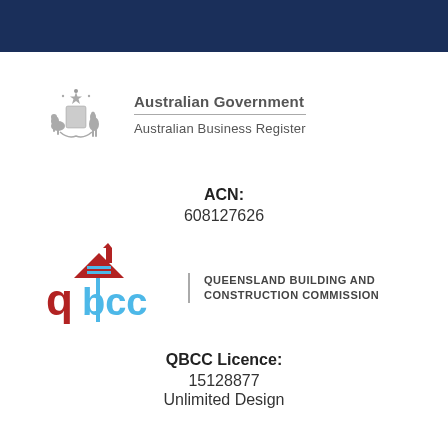[Figure (logo): Dark navy blue header bar]
[Figure (logo): Australian Government coat of arms and Australian Business Register logo with text 'Australian Government' and 'Australian Business Register']
ACN:
608127626
[Figure (logo): QBCC logo - Queensland Building and Construction Commission logo with house icon and stylized letters]
QBCC Licence:
15128877
Unlimited Design